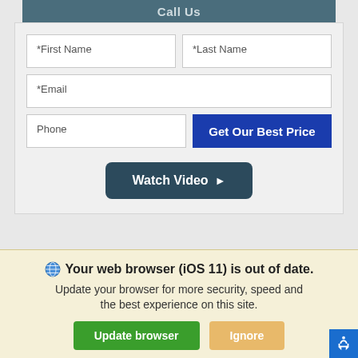Call Us
[Figure (screenshot): Web form with First Name, Last Name, Email, Phone fields and a Get Our Best Price button, plus a Watch Video button]
Your web browser (iOS 11) is out of date. Update your browser for more security, speed and the best experience on this site.
Update browser | Ignore